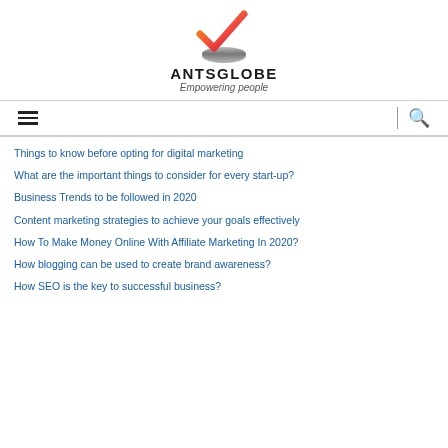[Figure (logo): AntsGlobe logo: orange/red checkmark above a metallic disc, with bold text ANTSGLOBE and italic tagline Empowering people]
Navigation bar with hamburger menu and search icon
Things to know before opting for digital marketing
What are the important things to consider for every start-up?
Business Trends to be followed in 2020
Content marketing strategies to achieve your goals effectively
How To Make Money Online With Affiliate Marketing In 2020?
How blogging can be used to create brand awareness?
How SEO is the key to successful business?